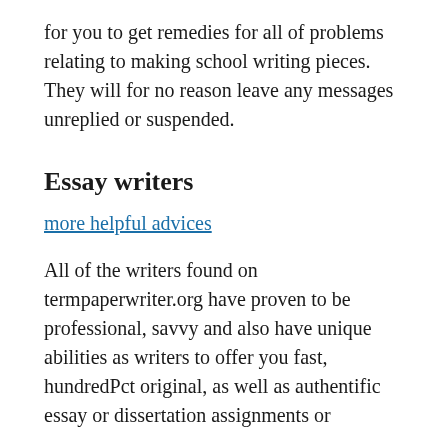for you to get remedies for all of problems relating to making school writing pieces. They will for no reason leave any messages unreplied or suspended.
Essay writers
more helpful advices
All of the writers found on termpaperwriter.org have proven to be professional, savvy and also have unique abilities as writers to offer you fast, hundredPct original, as well as authentific essay or dissertation assignments or